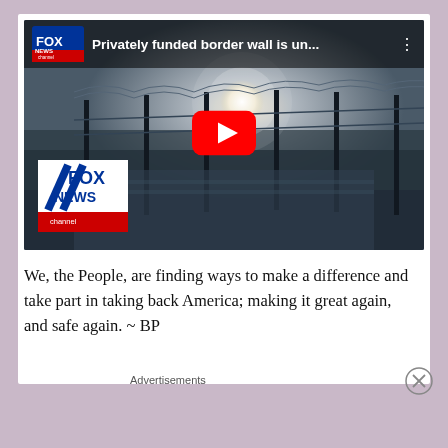[Figure (screenshot): Fox News YouTube video thumbnail showing a border wall with barbed wire fence and bright sun, with Fox News channel logo, video title 'Privately funded border wall is un...', and a red YouTube play button in the center.]
We, the People, are finding ways to make a difference and take part in taking back America; making it great again, and safe again.  ~ BP
Advertisements